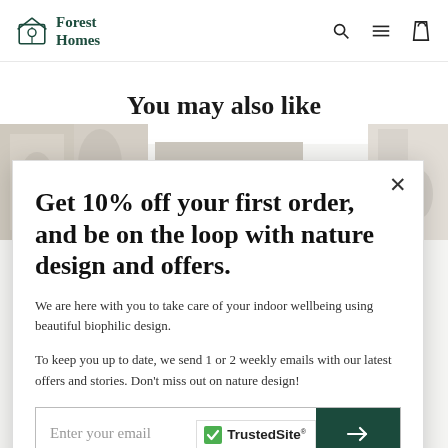Forest Homes
You may also like
[Figure (screenshot): E-commerce popup modal with email signup offer for Forest Homes website]
Get 10% off your first order, and be on the loop with nature design and offers.
We are here with you to take care of your indoor wellbeing using beautiful biophilic design.
To keep you up to date, we send 1 or 2 weekly emails with our latest offers and stories. Don't miss out on nature design!
Enter your email